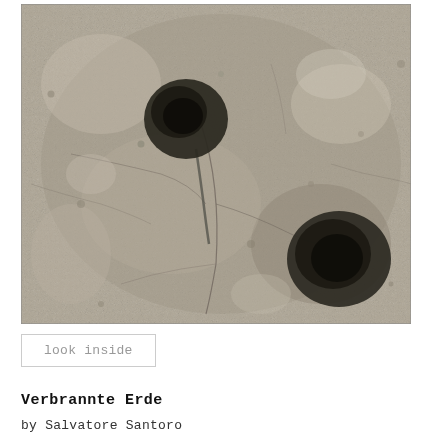[Figure (photo): Black and white photograph resembling a microscopic or aerial texture image. Two dark rounded blob-like shapes are visible — one in the upper-left area and one in the lower-right area — against a grainy, cracked, mottled grey background. The upper blob has a thin stem-like connection running downward toward the center.]
look inside
Verbrannte Erde
by Salvatore Santoro